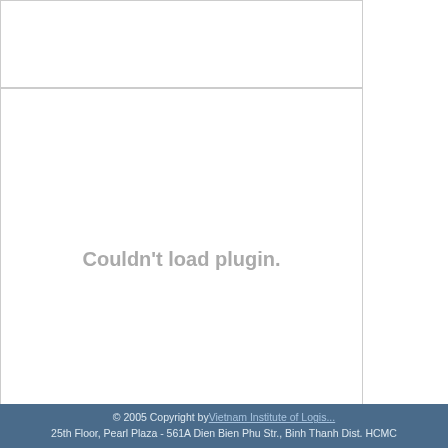[Figure (other): Plugin placeholder box (top portion) — empty white box with gray border]
[Figure (other): Plugin placeholder box with 'Couldn't load plugin.' message in gray bold text]
Name
Email receiver
Send
Email
Subscribe
© 2005 Copyright by Vietnam Institute of Logis...
25th Floor, Pearl Plaza - 561A Dien Bien Phu Str., Binh Thanh Dist. HCMC